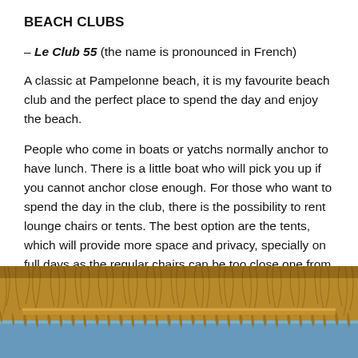BEACH CLUBS
– Le Club 55 (the name is pronounced in French)
A classic at Pampelonne beach, it is my favourite beach club and the perfect place to spend the day and enjoy the beach.
People who come in boats or yatchs normally anchor to have lunch. There is a little boat who will pick you up if you cannot anchor close enough. For those who want to spend the day in the club, there is the possibility to rent lounge chairs or tents. The best option are the tents, which will provide more space and privacy, specially on full days as the regular chairs can be too close one from the other.
[Figure (photo): Photo of a thatched straw umbrella/roof at a beach club, with blue sky and sea visible below]